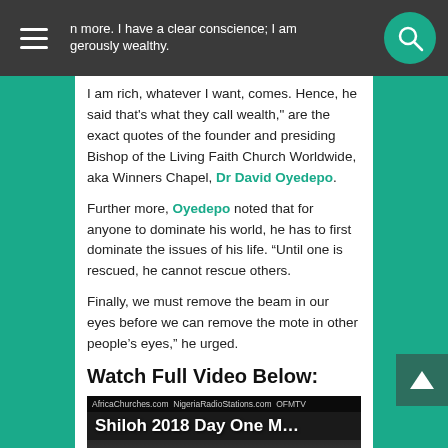n more. I have a clear conscience; I am gerously wealthy.
I am rich, whatever I want, comes. Hence, he said that's what they call wealth," are the exact quotes of the founder and presiding Bishop of the Living Faith Church Worldwide, aka Winners Chapel, Dr David Oyedepo.
Further more, Oyedepo noted that for anyone to dominate his world, he has to first dominate the issues of his life. “Until one is rescued, he cannot rescue others.
Finally, we must remove the beam in our eyes before we can remove the mote in other people’s eyes,” he urged.
Watch Full Video Below:
[Figure (screenshot): Video thumbnail showing 'Shiloh 2018 Day One M...' with AfricaChurches.com NigeriaRadioStations.com OFMTV branding and a play button]